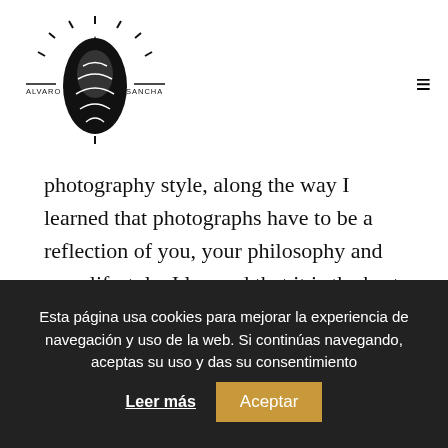ALVARO SANCHA logo and navigation
photography style, along the way I learned that photographs have to be a reflection of you, your philosophy and your lifestyle. I learned that it is the best way to tell stories with your camera, always being yourself.
Today, travel, landscape, art, mountains, the sea, or different lifestyles are part of my photographic stories. Whether they are couple reports, wedding reports or individual sessions.
Esta página usa cookies para mejorar la experiencia de navegación y uso de la web. Si continúas navegando, aceptas su uso y das su consentimiento  Leer más   Aceptar